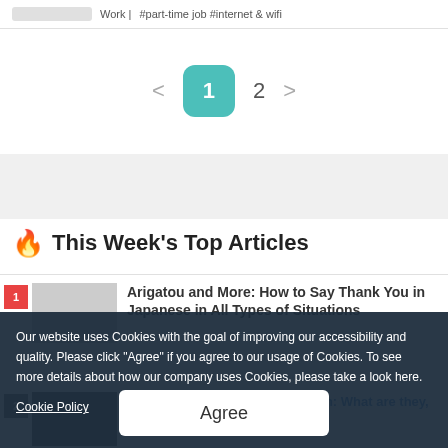Work | #part-time job #internet & wifi
1  2  >
🔥 This Week's Top Articles
Arigatou and More: How to Say Thank You in Japanese in All Types of Situations
Host and Hostess Clubs in Japan: What are they, and are foreigners allowed?
Our website uses Cookies with the goal of improving our accessibility and quality. Please click "Agree" if you agree to our usage of Cookies. To see more details about how our company uses Cookies, please take a look here.
Cookie Policy
Agree